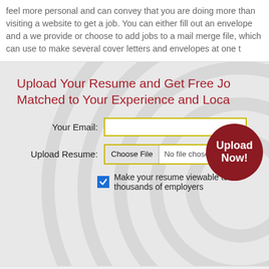feel more personal and can convey that you are doing more than visiting a website to get a job. You can either fill out an envelope and address it which we provide or choose to add jobs to a mail merge file, which can use to make several cover letters and envelopes at one time.
Upload Your Resume and Get Free Jobs Matched to Your Experience and Location
[Figure (screenshot): Web form with email input, file upload input, checkbox for making resume viewable, and Upload Now button on decorative concentric circles background]
No Thanks. Take me to Data Center Operations Manager